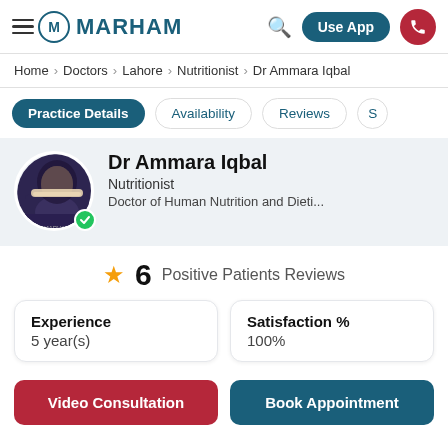MARHAM — Use App
Home › Doctors › Lahore › Nutritionist › Dr Ammara Iqbal
Practice Details | Availability | Reviews | S
Dr Ammara Iqbal
Nutritionist
Doctor of Human Nutrition and Dieti...
6 Positive Patients Reviews
| Experience | Satisfaction % |
| --- | --- |
| 5 year(s) | 100% |
Video Consultation | Book Appointment